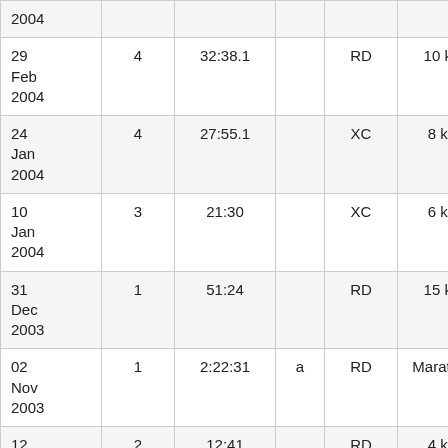| Date | # | Time |  | Type | Distance |  |
| --- | --- | --- | --- | --- | --- | --- |
| 2004 |  |  |  |  |  |  |
| 29 Feb 2004 | 4 | 32:38.1 |  | RD | 10 km | S P |
| 24 Jan 2004 | 4 | 27:55.1 |  | XC | 8 km | P |
| 10 Jan 2004 | 3 | 21:30 |  | XC | 6 km | S s l |
| 31 Dec 2003 | 1 | 51:24 |  | RD | 15 km | S E |
| 02 Nov 2003 | 1 | 2:22:31 | a | RD | Marathon | N M |
| 12 | 2 | 12:41 |  | RD | 4 km | P |